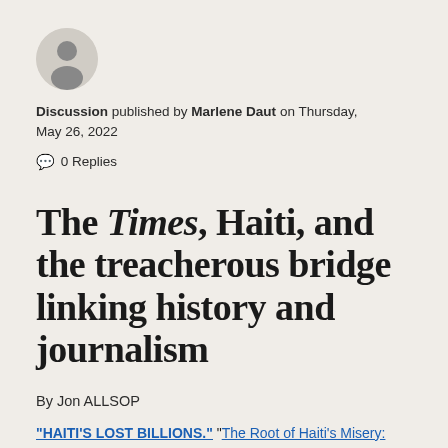[Figure (illustration): Circular avatar placeholder icon showing a silhouette of a person in gray]
Discussion published by Marlene Daut on Thursday, May 26, 2022
💬 0 Replies
The Times, Haiti, and the treacherous bridge linking history and journalism
By Jon ALLSOP
"HAITI'S LOST BILLIONS." "The Root of Haiti's Misery: